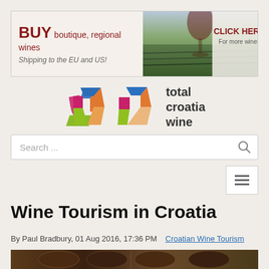[Figure (illustration): Banner advertisement: BUY boutique, regional wines. Shipping to the EU and US! With vineyard and wine glass image and CLICK HERE For more wines button.]
[Figure (logo): Total Croatia Wine logo with colorful C shape and text 'total croatia wine']
Search ...
[Figure (illustration): Hamburger menu button with three horizontal lines]
Wine Tourism in Croatia
By Paul Bradbury, 01 Aug 2016, 17:36 PM   Croatian Wine Tourism
[Figure (photo): Photo of wine barrels in a cellar]